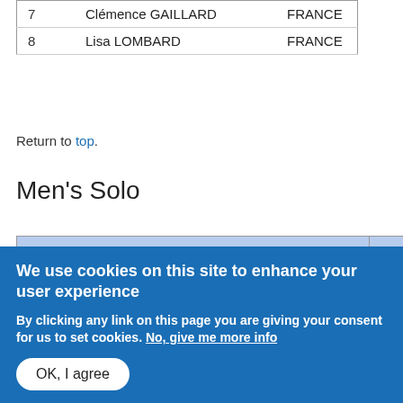|  | Name | Country |
| --- | --- | --- |
| 7 | Clémence GAILLARD | FRANCE |
| 8 | Lisa LOMBARD | FRANCE |
Return to top.
Men's Solo
| B Junior |
| --- |
| Place | FINAL |  |
| 1 | Simone RUSSO | ITALY |
| 2 | Albert JAMÁS | SPAIN |
| 3 | Oriol CARRERAS | SPAIN |
| A Ju... |
| --- |
| Place |  |
| 1 |  |
We use cookies on this site to enhance your user experience
By clicking any link on this page you are giving your consent for us to set cookies. No, give me more info
OK, I agree